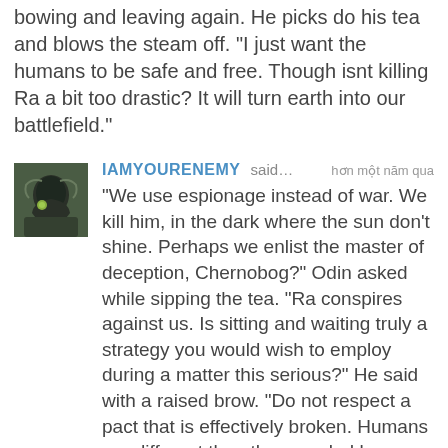bowing and leaving again. He picks do his tea and blows the steam off. "I just want the humans to be safe and free. Though isnt killing Ra a bit too drastic? It will turn earth into our battlefield."
IAMYOURENEMY said… hơn một năm qua "We use espionage instead of war. We kill him, in the dark where the sun don't shine. Perhaps we enlist the master of deception, Chernobog?" Odin asked while sipping the tea. "Ra conspires against us. Is sitting and waiting truly a strategy you would wish to employ during a matter this serious?" He said with a raised brow. "Do not respect a pact that is effectively broken. Humans are different than the ones led by Adalica, remember this. They have grown foolish in their contempt. A war will do very little than what is happening naturally on the planet already to hurt the humans."
-----------
Ra stepped a foot in the bog of eternal